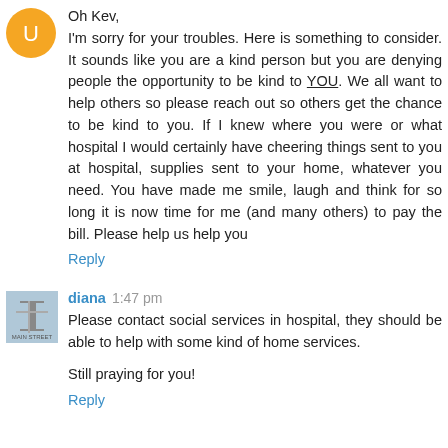Oh Kev,
I'm sorry for your troubles. Here is something to consider. It sounds like you are a kind person but you are denying people the opportunity to be kind to YOU. We all want to help others so please reach out so others get the chance to be kind to you. If I knew where you were or what hospital I would certainly have cheering things sent to you at hospital, supplies sent to your home, whatever you need. You have made me smile, laugh and think for so long it is now time for me (and many others) to pay the bill. Please help us help you
Reply
diana 1:47 pm
Please contact social services in hospital, they should be able to help with some kind of home services.

Still praying for you!
Reply